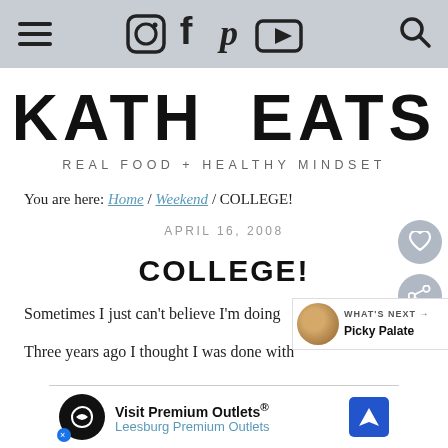Navigation bar with hamburger menu, social icons (Instagram, Facebook, Pinterest, YouTube), and search icon
KATH EATS
REAL FOOD + HEALTHY MINDSET
You are here: Home / Weekend / COLLEGE!
APRIL 16, 2008
COLLEGE!
Sometimes I just can't believe I'm doing
Three years ago I thought I was done with
[Figure (screenshot): Ad banner: Visit Premium Outlets® Leesburg Premium Outlets with logo and navigation icon]